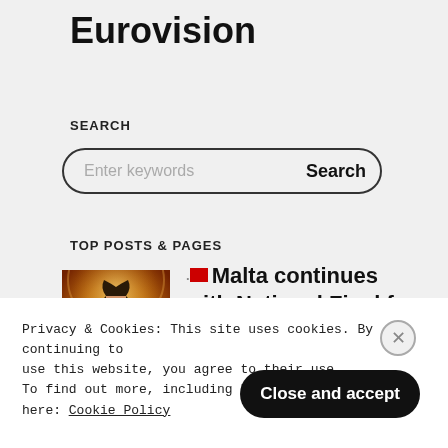Eurovision
SEARCH
Enter keywords  Search
TOP POSTS & PAGES
[Figure (photo): A female performer on stage in a glittering outfit with golden background lighting]
🟥 Malta continues with National Final for Eurovision 2023
Privacy & Cookies: This site uses cookies. By continuing to use this website, you agree to their use. To find out more, including how to control cookies, see here: Cookie Policy
Close and accept